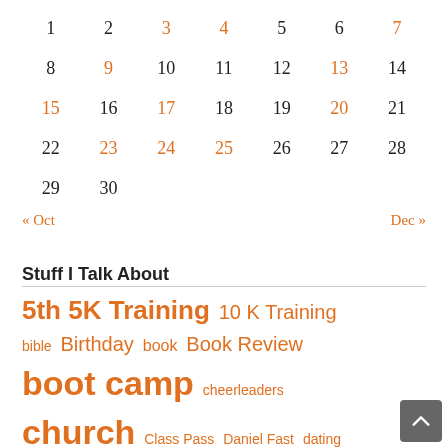| 1 | 2 | 3 | 4 | 5 | 6 | 7 |
| --- | --- | --- | --- | --- | --- | --- |
| 8 | 9 | 10 | 11 | 12 | 13 | 14 |
| 15 | 16 | 17 | 18 | 19 | 20 | 21 |
| 22 | 23 | 24 | 25 | 26 | 27 | 28 |
| 29 | 30 |  |  |  |  |  |
« Oct   Dec »
Stuff I Talk About
5th 5K Training  10 K Training  bible  Birthday  book  Book Review  boot camp  cheerleaders  church  Class Pass  Daniel Fast  dating  family  food  Food